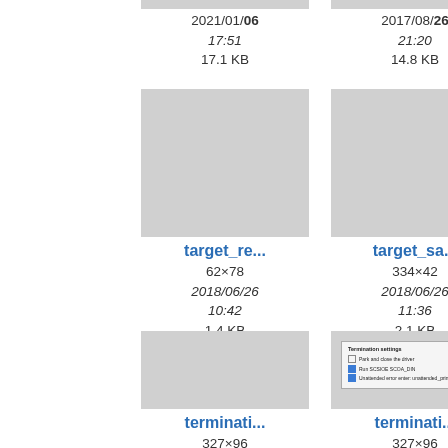[Figure (screenshot): File browser thumbnail grid showing image files. Top partial row: two thumbnails with dates 2021/01/06 17:51 17.1 KB and 2017/08/26 21:20 14.8 KB. Middle row: target_re... (62×78, 2018/06/26 10:42, 1.4 KB) and target_sa... (334×42, 2018/06/26 11:36, 2.1 KB). Bottom row: terminati... (327×96, 2021/01/11 17:17) and terminati... (327×96, 2021/01/11 17:17), plus partial third column.]